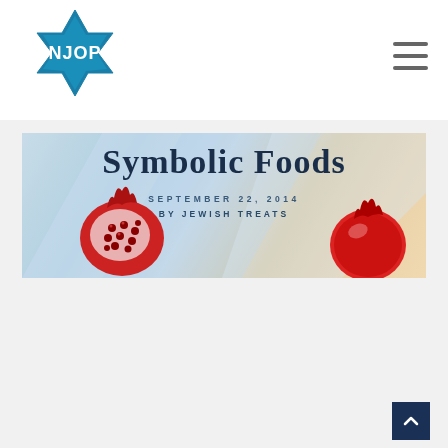[Figure (logo): NJOP logo — Star of David shape in teal/blue with 'NJOP' text in white]
[Figure (other): Hamburger menu icon (three horizontal lines)]
[Figure (photo): Hero banner image showing pomegranates (cut open revealing seeds) on a light blue/pastel geometric background with overlay text 'Symbolic Foods', date 'SEPTEMBER 22, 2014', and author 'BY JEWISH TREATS']
Symbolic Foods
SEPTEMBER 22, 2014
BY JEWISH TREATS
[Figure (other): Scroll-to-top button (dark navy square with upward chevron arrow)]